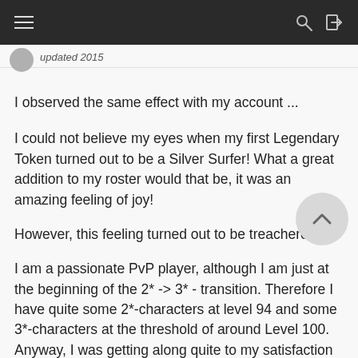≡  [search icon] [login icon]
I observed the same effect with my account ...
I could not believe my eyes when my first Legendary Token turned out to be a Silver Surfer! What a great addition to my roster would that be, it was an amazing feeling of joy!
However, this feeling turned out to be treacherous.
I am a passionate PvP player, although I am just at the beginning of the 2* -> 3* - transition. Therefore I have quite some 2*-characters at level 94 and some 3*-characters at the threshold of around Level 100. Anyway, I was getting along quite to my satisfaction in PvP, it was challenging, sometimes a bit too hard, but given my state of being still some sort of a